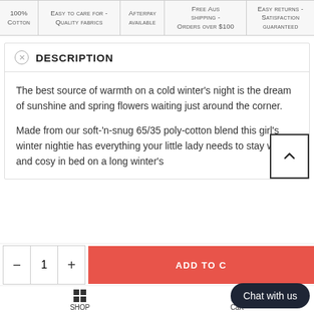| 100% Cotton | Easy to care for - Quality fabrics | Afterpay available | Free Aus shipping - Orders over $100 | Easy returns - Satisfaction guaranteed |
| --- | --- | --- | --- | --- |
DESCRIPTION
The best source of warmth on a cold winter's night is the dream of sunshine and spring flowers waiting just around the corner.
Made from our soft-'n-snug 65/35 poly-cotton blend this girl's winter nightie has everything your little lady needs to stay warm and cosy in bed on a long winter's
ADD TO CART
Chat with us
SHOP   Cart